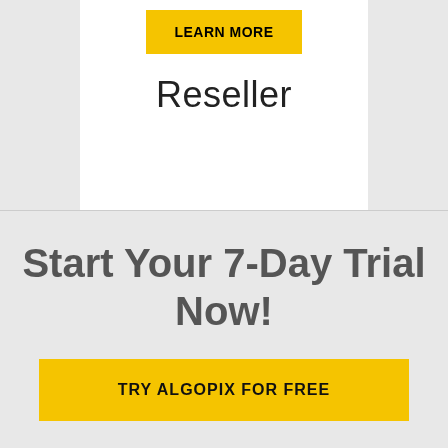[Figure (infographic): Yellow 'LEARN MORE' button on a white card]
Reseller
Start Your 7-Day Trial Now!
TRY ALGOPIX FOR FREE